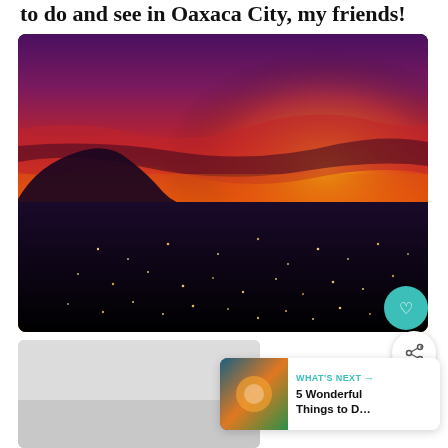to do and see in Oaxaca City, my friends!
[Figure (photo): Aerial photo of a dramatic sunset over Oaxaca City. The sky is filled with vivid purples, reds, oranges, and yellows. A dark mountain silhouette is visible on the left. City lights twinkle in the dark foreground below.]
Sunrise of Wonders in Oaxaca City
[Figure (photo): Thumbnail image for 'What's Next' widget showing colorful scene, related to '5 Wonderful Things to D…']
WHAT'S NEXT → 5 Wonderful Things to D…